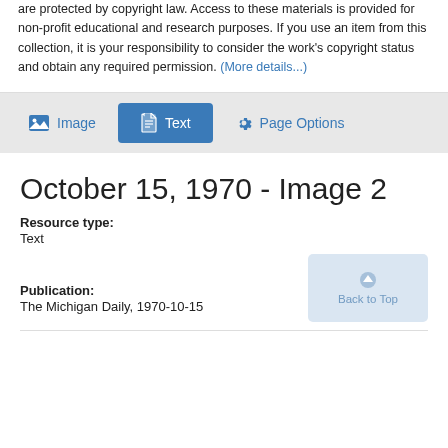are protected by copyright law. Access to these materials is provided for non-profit educational and research purposes. If you use an item from this collection, it is your responsibility to consider the work's copyright status and obtain any required permission. (More details...)
[Figure (screenshot): Toolbar with Image, Text (active/selected blue button), and Page Options buttons on a light grey background]
October 15, 1970 - Image 2
Resource type:
Text
Publication:
The Michigan Daily, 1970-10-15